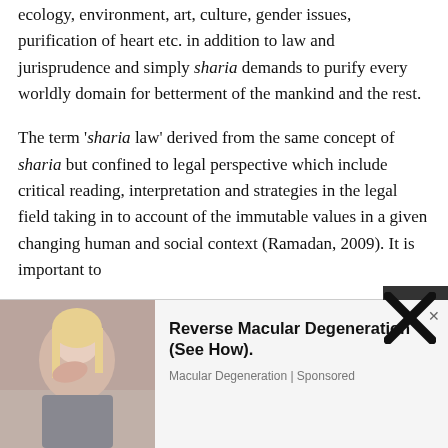ecology, environment, art, culture, gender issues, purification of heart etc. in addition to law and jurisprudence and simply sharia demands to purify every worldly domain for betterment of the mankind and the rest.
The term 'sharia law' derived from the same concept of sharia but confined to legal perspective which include critical reading, interpretation and strategies in the legal field taking in to account of the immutable values in a given changing human and social context (Ramadan, 2009). It is important to
[Figure (photo): Advertisement overlay showing a woman covering her face, with text 'Reverse Macular Degeneration (See How). Macular Degeneration | Sponsored' and a close X button]